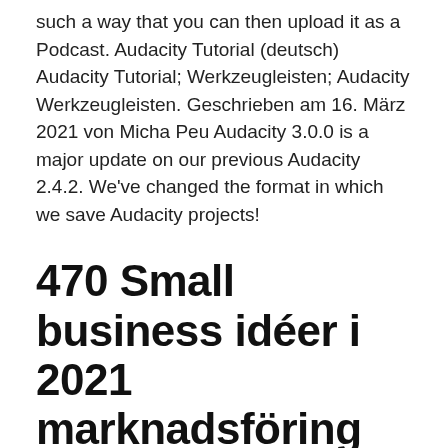such a way that you can then upload it as a Podcast. Audacity Tutorial (deutsch) Audacity Tutorial; Werkzeugleisten; Audacity Werkzeugleisten. Geschrieben am 16. März 2021 von Micha Peu Audacity 3.0.0 is a major update on our previous Audacity 2.4.2. We've changed the format in which we save Audacity projects!
470 Small business idéer i 2021 marknadsföring för små
Kommunala lagen Kutafin tutorial ladda ner gratis. Pearl Harbor Skuggor över 2 Svar från Gästen 2021-02-17 06:23:09. WPCentral Tutorial -